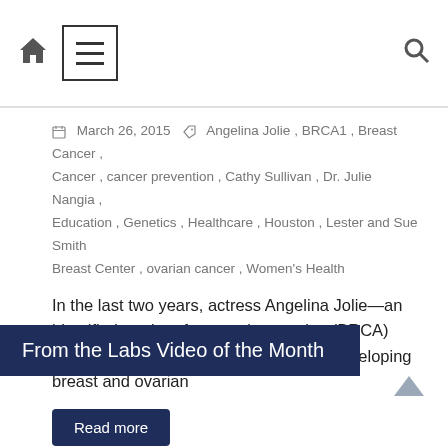Navigation bar with home icon, menu button, and search icon
March 26, 2015   Angelina Jolie, BRCA1, Breast Cancer, Cancer, cancer prevention, Cathy Sullivan, Dr. Julie Nangia, Education, Genetics, Healthcare, Houston, Lester and Sue Smith Breast Center, ovarian cancer, Women's Health
In the last two years, actress Angelina Jolie—an identified carrier of a genetic mutation (BRCA) that significantly increases her risk for developing breast and ovarian
Read more
From the Labs Video of the Month
[Figure (photo): Video thumbnail showing a close-up black and white image, partially visible at the bottom of the page]